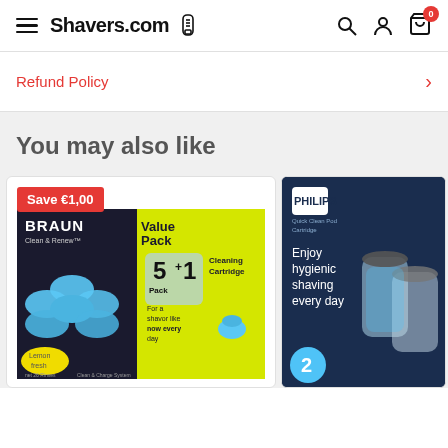Shavers.com
Refund Policy
You may also like
[Figure (photo): Braun Clean & Renew Value Pack 5+1 Cleaning Cartridge - Lemon fresh, product box image]
[Figure (photo): Philips Quick Clean Pod Cartridge product box - Enjoy hygienic shaving every day, pack of 2]